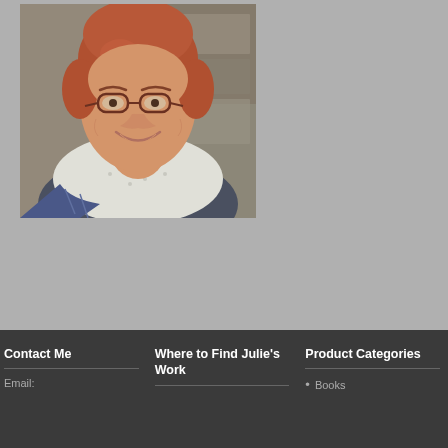[Figure (photo): Portrait photo of a smiling middle-aged woman with short reddish-brown hair wearing glasses and a white scarf, standing outdoors near a stone wall.]
Contact Me
Where to Find Julie's Work
Product Categories
Email:
Books